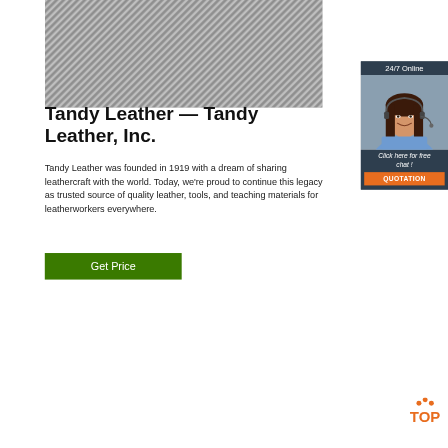[Figure (photo): Close-up photo of diagonal metallic or fiber strands in grey and white tones, used as a banner image]
[Figure (photo): 24/7 Online chat widget showing a smiling woman with headset, dark background panel with 'Click here for free chat!' text and orange QUOTATION button]
Tandy Leather — Tandy Leather, Inc.
Tandy Leather was founded in 1919 with a dream of sharing leathercraft with the world. Today, we're proud to continue this legacy as trusted source of quality leather, tools, and teaching materials for leatherworkers everywhere.
[Figure (logo): Orange TOP logo with circular dots above text]
Get Price